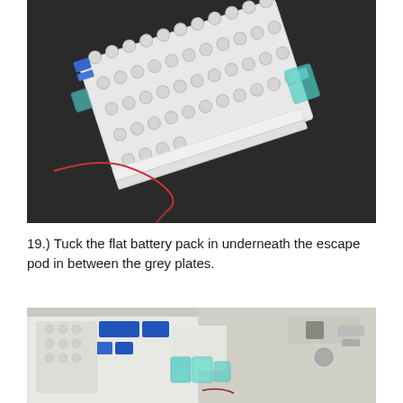[Figure (photo): Photo of a white LEGO brick construction (escape pod) tilted on a dark background, with a small red wire visible and teal/blue transparent LEGO pieces on the right side.]
19.) Tuck the flat battery pack in underneath the escape pod in between the grey plates.
[Figure (photo): Partial photo showing LEGO model with white and blue bricks and teal transparent pieces, viewed from above on a white/grey background.]